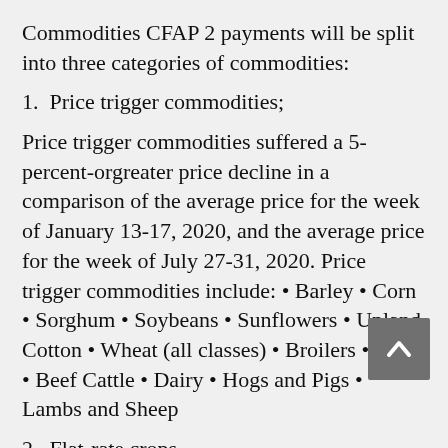Commodities CFAP 2 payments will be split into three categories of commodities:
1.  Price trigger commodities;
Price trigger commodities suffered a 5-percent-orgreater price decline in a comparison of the average price for the week of January 13-17, 2020, and the average price for the week of July 27-31, 2020. Price trigger commodities include: • Barley • Corn • Sorghum • Soybeans • Sunflowers • Upland Cotton • Wheat (all classes) • Broilers • Eggs • Beef Cattle • Dairy • Hogs and Pigs • Lambs and Sheep
2.  Flat-rate crops
Flat-rate crops are crops that either do not meet